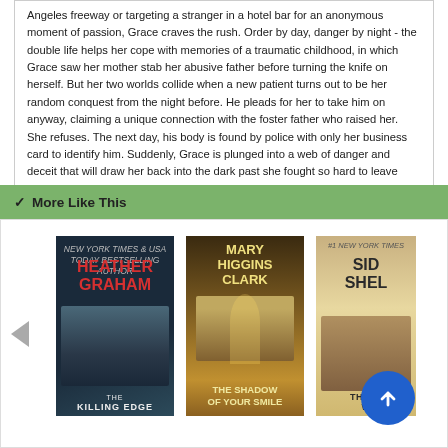Angeles freeway or targeting a stranger in a hotel bar for an anonymous moment of passion, Grace craves the rush. Order by day, danger by night - the double life helps her cope with memories of a traumatic childhood, in which Grace saw her mother stab her abusive father before turning the knife on herself. But her two worlds collide when a new patient turns out to be her random conquest from the night before. He pleads for her to take him on anyway, claiming a unique connection with the foster father who raised her. She refuses. The next day, his body is found by police with only her business card to identify him. Suddenly, Grace is plunged into a web of danger and deceit that will draw her back into the dark past she fought so hard to leave behind"--
More Like This
[Figure (illustration): Three book covers shown side by side: 'The Killing Edge' by Heather Graham (dark thriller cover), 'The Shadow of Your Smile' by Mary Higgins Clark (warm golden cover with figure), and a partially visible third book by Sid Sheldon. A left navigation arrow is visible on the left side and a blue scroll-to-top button overlays the third book.]